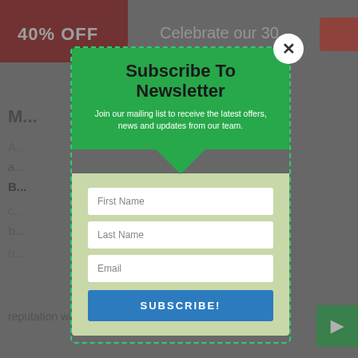[Figure (screenshot): A newsletter subscription modal popup overlaid on a dimmed webpage background. The modal has a green header with 'Subscribe To Newsletter' title and descriptive text, a light green form area with First Name, Last Name, and Email fields, a blue SUBSCRIBE! button, and a close (X) button in the top-right corner. The background shows fragments of a webpage with '40% OFF' text, navigation elements, and body text about reputation.]